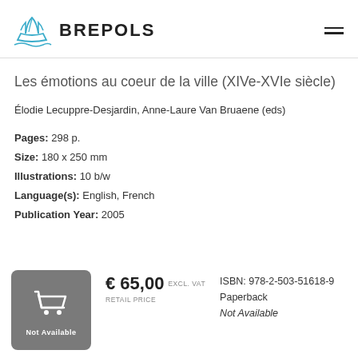BREPOLS
Les émotions au coeur de la ville (XIVe-XVIe siècle)
Élodie Lecuppre-Desjardin, Anne-Laure Van Bruaene (eds)
Pages: 298 p.
Size: 180 x 250 mm
Illustrations: 10 b/w
Language(s): English, French
Publication Year: 2005
[Figure (illustration): Shopping cart icon in a grey rounded rectangle with 'Not Available' label]
€ 65,00 EXCL. VAT
RETAIL PRICE
ISBN: 978-2-503-51618-9
Paperback
Not Available